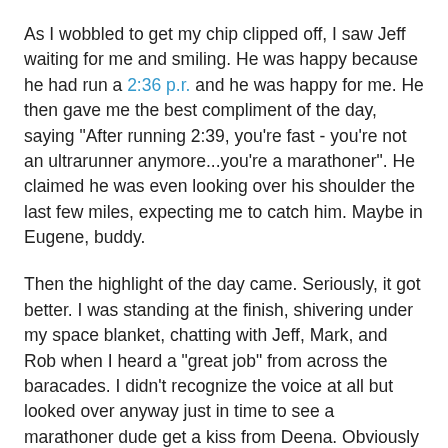As I wobbled to get my chip clipped off, I saw Jeff waiting for me and smiling. He was happy because he had run a 2:36 p.r. and he was happy for me. He then gave me the best compliment of the day, saying "After running 2:39, you're fast - you're not an ultrarunner anymore...you're a marathoner". He claimed he was even looking over his shoulder the last few miles, expecting me to catch him. Maybe in Eugene, buddy.
Then the highlight of the day came. Seriously, it got better. I was standing at the finish, shivering under my space blanket, chatting with Jeff, Mark, and Rob when I heard a "great job" from across the baracades. I didn't recognize the voice at all but looked over anyway just in time to see a marathoner dude get a kiss from Deena. Obviously it was Deena's husband, Andrew, and he had just run a great 2:51. I had to, had to, meet her. So I walked up, said "Hi, I'm Sean Meissner, I'm a huge fan, and I'd love to meet you" and I stuck out my snotty glove to shake her hand. Deena very graciously shook my hand, asked how my race was, and gave me a sincere congratulations. Thanks, Deena - that